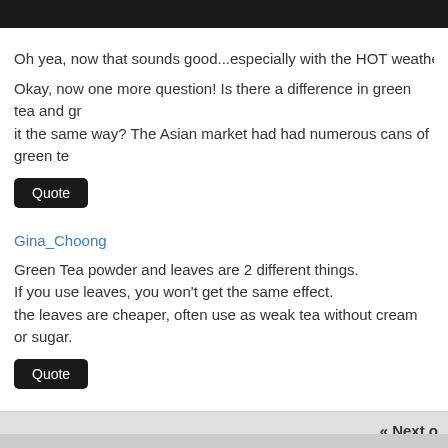Oh yea, now that sounds good...especially with the HOT weather we're
Okay, now one more question! Is there a difference in green tea and gr it the same way? The Asian market had had numerous cans of green te
Quote
Gina_Choong
Green Tea powder and leaves are 2 different things.
If you use leaves, you won't get the same effect.
the leaves are cheaper, often use as weak tea without cream or sugar.
Quote
« Next o
Subscribe to this thread